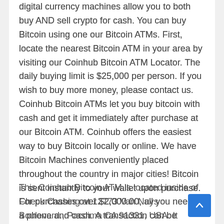digital currency machines allow you to both buy AND sell crypto for cash. You can buy Bitcoin using one our Bitcoin ATMs. First, locate the nearest Bitcoin ATM in your area by visiting our Coinhub Bitcoin ATM Locator. The daily buying limit is $25,000 per person. If you wish to buy more money, please contact us. Coinhub Bitcoin ATMs let you buy bitcoin with cash and get it immediately after purchase at our Bitcoin ATM. Coinhub offers the easiest way to buy Bitcoin locally or online. We have Bitcoin Machines conveniently placed throughout the country in major cities! Bitcoin is sent instantly to your wallet upon purchase. For purchases over $2,000.00, all you need is a phone and cash. A transaction can be completed in under two minutes
This Coinhub Bitcoin ATM is located inside of Check Cashing at 12773 Van Nuys Boulevard., Pacoima CA 91331, USA. It allows you to buy Bitcoin at any